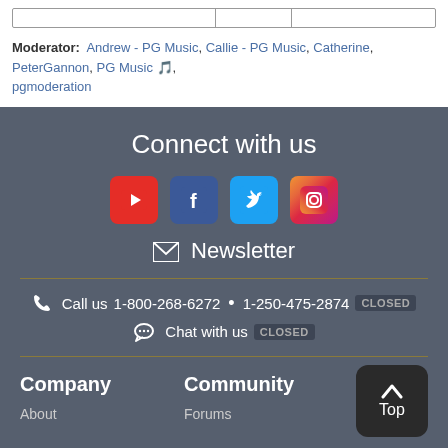Moderator: Andrew - PG Music, Callie - PG Music, Catherine, PeterGannon, PG Music 🎵, pgmoderation
Connect with us
[Figure (infographic): Social media icons: YouTube, Facebook, Twitter, Instagram]
Newsletter
Call us  1-800-268-6272  •  1-250-475-2874  CLOSED
Chat with us  CLOSED
Company
About
Community
Forums